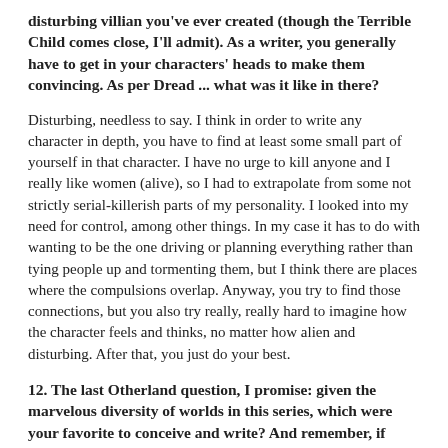disturbing villian you've ever created (though the Terrible Child comes close, I'll admit). As a writer, you generally have to get in your characters' heads to make them convincing. As per Dread ... what was it like in there?
Disturbing, needless to say. I think in order to write any character in depth, you have to find at least some small part of yourself in that character. I have no urge to kill anyone and I really like women (alive), so I had to extrapolate from some not strictly serial-killerish parts of my personality. I looked into my need for control, among other things. In my case it has to do with wanting to be the one driving or planning everything rather than tying people up and tormenting them, but I think there are places where the compulsions overlap. Anyway, you try to find those connections, but you also try really, really hard to imagine how the character feels and thinks, no matter how alien and disturbing. After that, you just do your best.
12. The last Otherland question, I promise: given the marvelous diversity of worlds in this series, which were your favorite to conceive and write? And remember, if